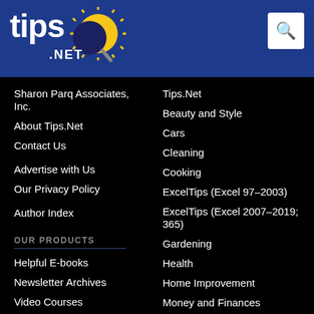tips.net header with logo and search
Sharon Parq Associates, Inc.
About Tips.Net
Contact Us
Advertise with Us
Our Privacy Policy
Author Index
OUR PRODUCTS
Helpful E-books
Newsletter Archives
Video Courses
Tips.Net
Beauty and Style
Cars
Cleaning
Cooking
ExcelTips (Excel 97–2003)
ExcelTips (Excel 2007–2019; 365)
Gardening
Health
Home Improvement
Money and Finances
Organizing
Pests and Bugs
Pets and Animals